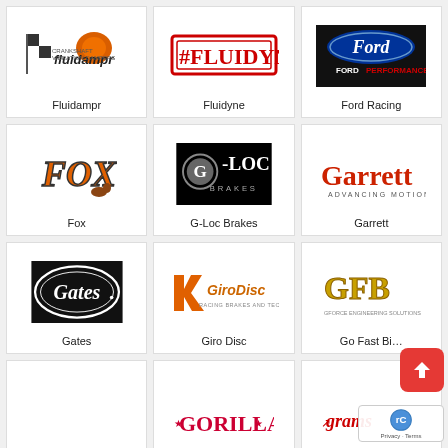[Figure (logo): Fluidampr logo - racing damper brand with checkered flag]
Fluidampr
[Figure (logo): Fluidyne logo - red hashtag style racing brand]
Fluidyne
[Figure (logo): Ford Performance logo - blue oval Ford logo on black background]
Ford Racing
[Figure (logo): Fox logo - orange fox racing brand]
Fox
[Figure (logo): G-Loc Brakes logo - white text on black background]
G-Loc Brakes
[Figure (logo): Garrett Advancing Motion logo - red text on white]
Garrett
[Figure (logo): Gates logo - white script on black oval]
Gates
[Figure (logo): Giro Disc - Racing Brakes and Technology logo]
Giro Disc
[Figure (logo): GFB - Go Fast Bits logo in gold/yellow]
Go Fast Bi...
[Figure (logo): Gorilla logo - partially visible at bottom]
[Figure (logo): Grams logo - partially visible at bottom]